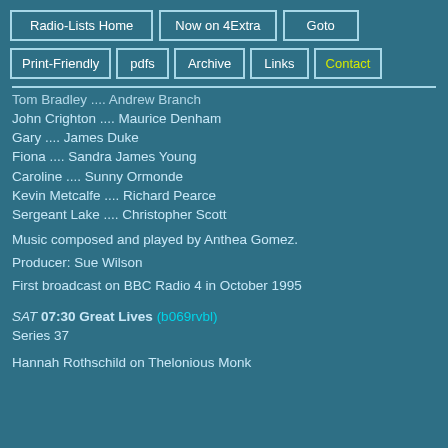Radio-Lists Home | Now on 4Extra | Goto
Print-Friendly | pdfs | Archive | Links | Contact
Tom Bradley .... Andrew Branch
John Crighton .... Maurice Denham
Gary .... James Duke
Fiona .... Sandra James Young
Caroline .... Sunny Ormonde
Kevin Metcalfe .... Richard Pearce
Sergeant Lake .... Christopher Scott
Music composed and played by Anthea Gomez.
Producer: Sue Wilson
First broadcast on BBC Radio 4 in October 1995
SAT 07:30 Great Lives (b069rvbl)
Series 37
Hannah Rothschild on Thelonious Monk